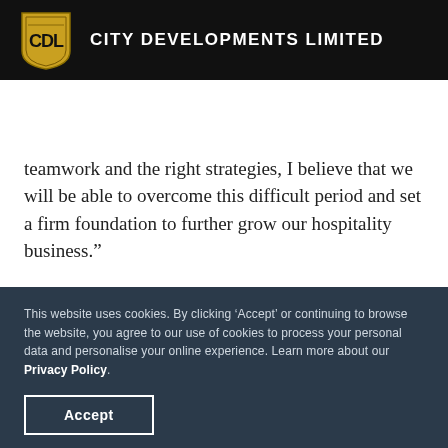City Developments Limited
teamwork and the right strategies, I believe that we will be able to overcome this difficult period and set a firm foundation to further grow our hospitality business.”
This website uses cookies. By clicking ‘Accept’ or continuing to browse the website, you agree to our use of cookies to process your personal data and personalise your online experience. Learn more about our Privacy Policy.
Accept